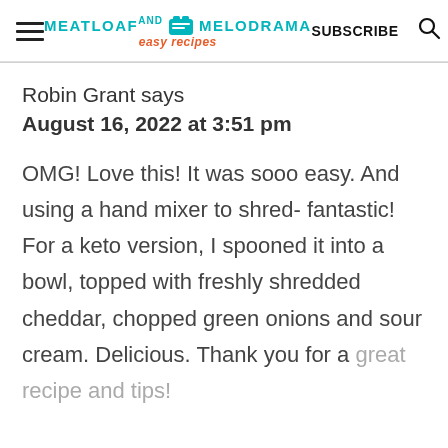MEATLOAF AND MELODRAMA easy recipes | SUBSCRIBE
Robin Grant says
August 16, 2022 at 3:51 pm
OMG! Love this! It was sooo easy. And using a hand mixer to shred- fantastic! For a keto version, I spooned it into a bowl, topped with freshly shredded cheddar, chopped green onions and sour cream. Delicious. Thank you for a great recipe and tips!